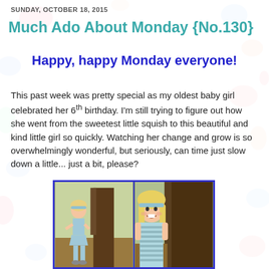SUNDAY, OCTOBER 18, 2015
Much Ado About Monday {No.130}
Happy, happy Monday everyone!
This past week was pretty special as my oldest baby girl celebrated her 6th birthday. I'm still trying to figure out how she went from the sweetest little squish to this beautiful and kind little girl so quickly. Watching her change and grow is so overwhelmingly wonderful, but seriously, can time just slow down a little... just a bit, please?
[Figure (photo): Two side-by-side photos of a young blonde girl posing outdoors near a large tree. In the left photo she stands with her hands on her hips wearing a light blue outfit and headband. In the right photo she is closer to the camera, smiling, wearing the same outfit.]